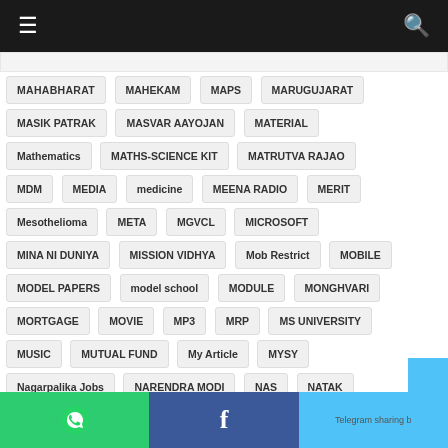Navigation menu and search
MAHABHARAT
MAHEKAM
MAPS
MARUGUJARAT
MASIK PATRAK
MASVAR AAYOJAN
MATERIAL
Mathematics
MATHS-SCIENCE KIT
MATRUTVA RAJAO
MDM
MEDIA
medicine
MEENA RADIO
MERIT
Mesothelioma
META
MGVCL
MICROSOFT
MINA NI DUNIYA
MISSION VIDHYA
Mob Restrict
MOBILE
MODEL PAPERS
model school
MODULE
MONGHVARI
MORTGAGE
MOVIE
MP3
MRP
MS UNIVERSITY
MUSIC
MUTUAL FUND
My Article
MYSY
Nagarpalika Jobs
NARENDRA MODI
NAS
NATAK
National Highways
NCERT
NDA
NEET
NEP 2020
WhatsApp share | Facebook share | Telegram sharing button